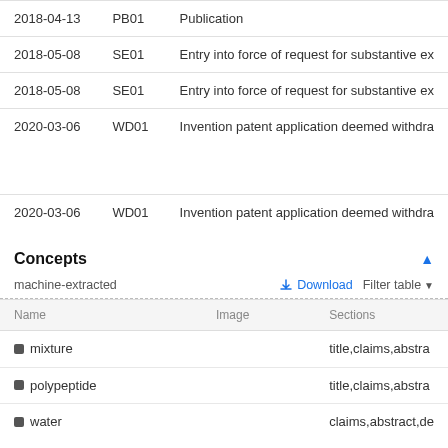| Date | Code | Description |
| --- | --- | --- |
| 2018-04-13 | PB01 | Publication |
| 2018-05-08 | SE01 | Entry into force of request for substantive ex |
| 2018-05-08 | SE01 | Entry into force of request for substantive ex |
| 2020-03-06 | WD01 | Invention patent application deemed withdra |
| 2020-03-06 | WD01 | Invention patent application deemed withdra |
Concepts
machine-extracted
| Name | Image | Sections |
| --- | --- | --- |
| mixture |  | title,claims,abstra |
| polypeptide |  | title,claims,abstra |
| water |  | claims,abstract,de |